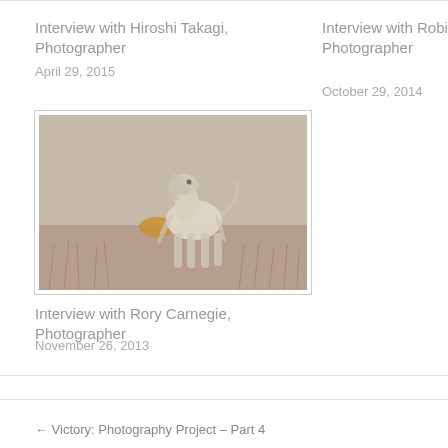Interview with Hiroshi Takagi, Photographer
April 29, 2015
Interview with Robi Photographer
October 29, 2014
[Figure (photo): Afghan hound dog standing in a misty field with dry grass, long white silky fur, photographed with soft muted tones]
Interview with Rory Carnegie, Photographer
November 26, 2013
← Victory: Photography Project – Part 4